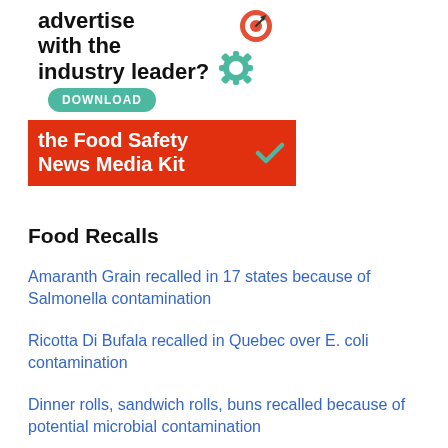[Figure (infographic): Advertisement banner for Food Safety News Media Kit. White top section with bold black text 'advertise with the industry leader?' and a teal/red gear icon. Green rounded button labeled 'DOWNLOAD'. Red bottom section with white bold text 'the Food Safety News Media Kit' and a teal checkmark icon.]
Food Recalls
Amaranth Grain recalled in 17 states because of Salmonella contamination
Ricotta Di Bufala recalled in Quebec over E. coli contamination
Dinner rolls, sandwich rolls, buns recalled because of potential microbial contamination